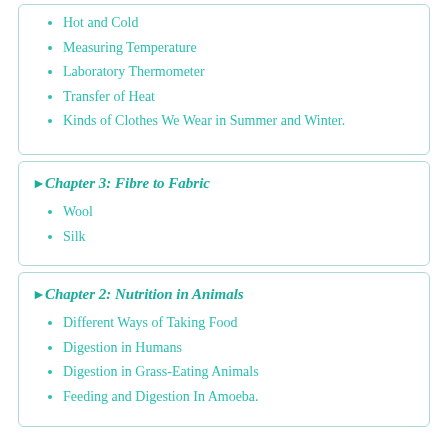Hot and Cold
Measuring Temperature
Laboratory Thermometer
Transfer of Heat
Kinds of Clothes We Wear in Summer and Winter.
Chapter 3: Fibre to Fabric
Wool
Silk
Chapter 2: Nutrition in Animals
Different Ways of Taking Food
Digestion in Humans
Digestion in Grass-Eating Animals
Feeding and Digestion In Amoeba.